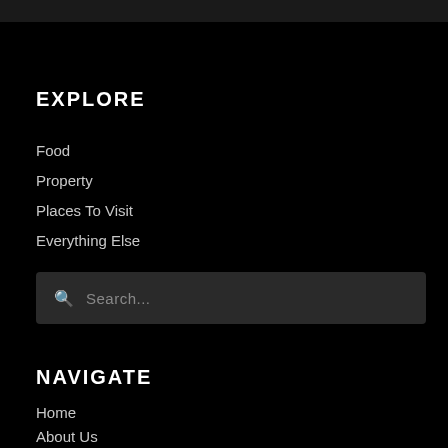EXPLORE
Food
Property
Places To Visit
Everything Else
[Figure (other): Search bar with magnifying glass icon and placeholder text 'Search...']
NAVIGATE
Home
About Us